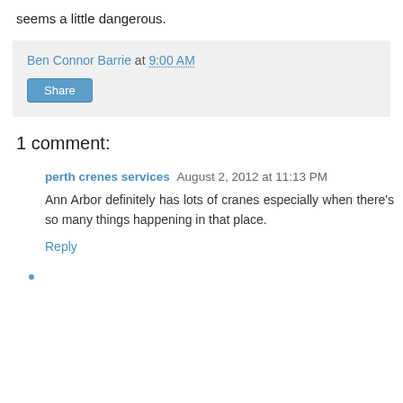seems a little dangerous.
Ben Connor Barrie at 9:00 AM
Share
1 comment:
perth crenes services August 2, 2012 at 11:13 PM
Ann Arbor definitely has lots of cranes especially when there's so many things happening in that place.
Reply